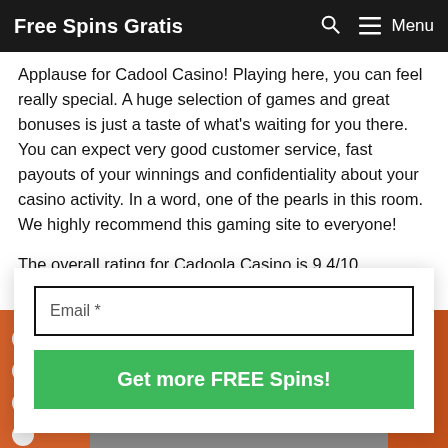Free Spins Gratis | Menu
Applause for Cadool Casino! Playing here, you can feel really special. A huge selection of games and great bonuses is just a taste of what's waiting for you there. You can expect very good customer service, fast payouts of your winnings and confidentiality about your casino activity. In a word, one of the pearls in this room. We highly recommend this gaming site to everyone!
The overall rating for Cadoola Casino is 9.4/10.
[Figure (screenshot): Email subscription form with a text input labeled 'Email *' and a green button labeled 'Get more FREE Spins!']